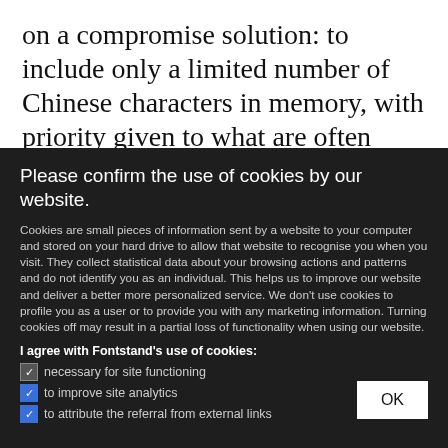on a compromise solution: to include only a limited number of Chinese characters in memory, with priority given to what are often referred to as “common usage characters.” Containing anywhere from a few thousand
Please confirm the use of cookies by our website.
Cookies are small pieces of information sent by a website to your computer and stored on your hard drive to allow that website to recognise you when you visit. They collect statistical data about your browsing actions and patterns and do not identify you as an individual. This helps us to improve our website and deliver a better more personalized service. We don’t use cookies to profile you as a user or to provide you with any marketing information. Turning cookies off may result in a partial loss of functionality when using our website.
I agree with Fontstand’s use of cookies:
necessary for site functioning
to improve site analytics
to attribute the referral from external links